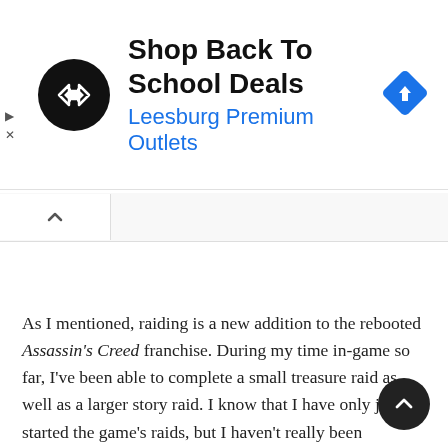[Figure (other): Advertisement banner for Leesburg Premium Outlets with logo, text 'Shop Back To School Deals', subtitle 'Leesburg Premium Outlets', and navigation arrow icon]
As I mentioned, raiding is a new addition to the rebooted Assassin's Creed franchise. During my time in-game so far, I've been able to complete a small treasure raid as well as a larger story raid. I know that I have only just started the game's raids, but I haven't really been enjoying them so far. The smaller raid that I endured consisted of facing down a couple of waves of enemies together with my crew before burning